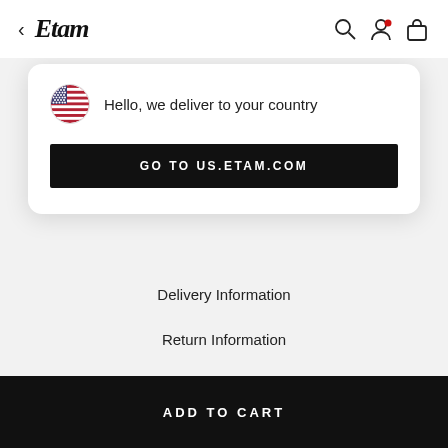← Etam [nav icons]
Hello, we deliver to your country
GO TO US.ETAM.COM
Delivery Information
Return Information
Services
Find a store
Contact us
Legal notices & Conditions
FAQs
Site Map
ADD TO CART